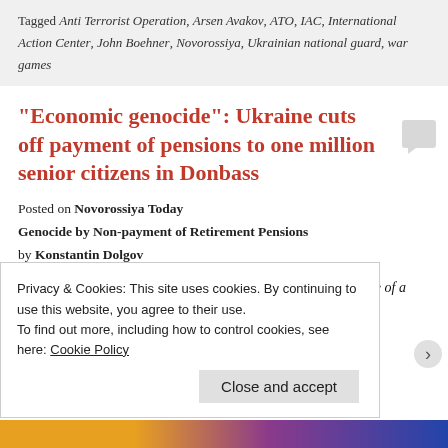Tagged Anti Terrorist Operation, Arsen Avakov, ATO, IAC, International Action Center, John Boehner, Novorossiya, Ukrainian national guard, war games
“Economic genocide”: Ukraine cuts off payment of pensions to one million senior citizens in Donbass
Posted on Novorossiya Today
Genocide by Non-payment of Retirement Pensions
by Konstantin Dolgov
Ukraine wants to improve the state of its economy at the expense of a million of lives of the retired people in Donbass
Privacy & Cookies: This site uses cookies. By continuing to use this website, you agree to their use.
To find out more, including how to control cookies, see here: Cookie Policy